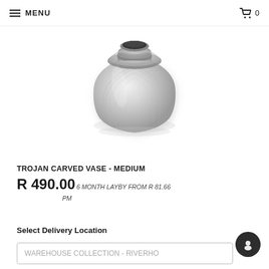MENU  0
[Figure (photo): A silver/metallic hammered carved vase with a rounded body, narrow neck and wide mouth opening, displayed on a white background]
TROJAN CARVED VASE - MEDIUM
R 490.00  6 MONTH LAYBY FROM R 81.66 PM
Select Delivery Location
WAREHOUSE COLLECTION - RIVERHO